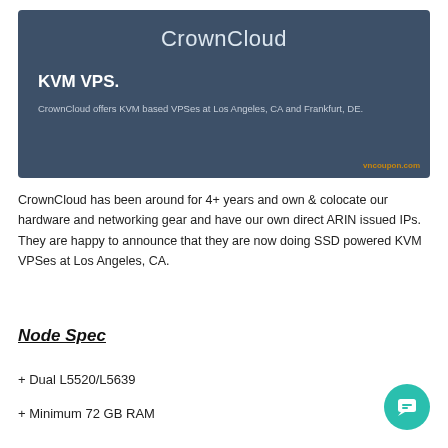[Figure (other): Dark blue banner with CrownCloud logo text centered at top, 'KVM VPS.' heading below left, description text, and vncoupon.com watermark at bottom right]
CrownCloud has been around for 4+ years and own & colocate our hardware and networking gear and have our own direct ARIN issued IPs. They are happy to announce that they are now doing SSD powered KVM VPSes at Los Angeles, CA.
Node Spec
+ Dual L5520/L5639
+ Minimum 72 GB RAM